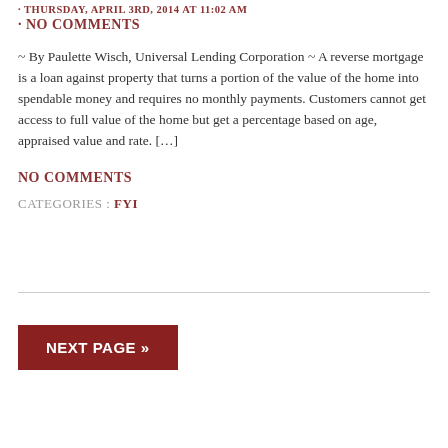THURSDAY, APRIL 3RD, 2014 AT 11:02 AM
· NO COMMENTS
~ By Paulette Wisch, Universal Lending Corporation ~ A reverse mortgage is a loan against property that turns a portion of the value of the home into spendable money and requires no monthly payments. Customers cannot get access to full value of the home but get a percentage based on age, appraised value and rate. […]
NO COMMENTS
CATEGORIES : FYI
NEXT PAGE »